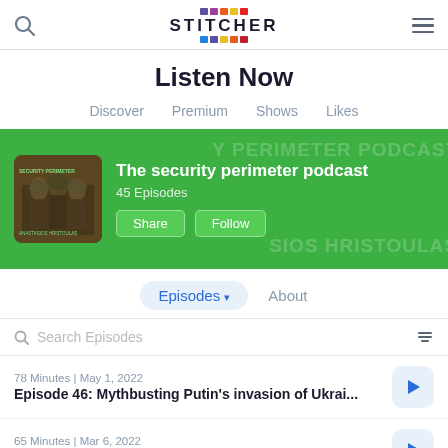Stitcher — Listen Now
Listen Now
Discover   Premium   Shows   Likes
[Figure (screenshot): Green banner showing The security perimeter podcast with soldiers thumbnail image, 45 Episodes, Share and Follow buttons, watermarked background text reading SECURITY PERIMETER PODCAST and ANASTASIOS HRISTOULAS]
Episodes ▾   About
Search Episodes
78 Minutes | May 1, 2022
Episode 46: Mythbusting Putin's invasion of Ukrai...
65 Minutes | Mar 6, 2022
Episode 45: The Putin invasion of Ukraine: A frank